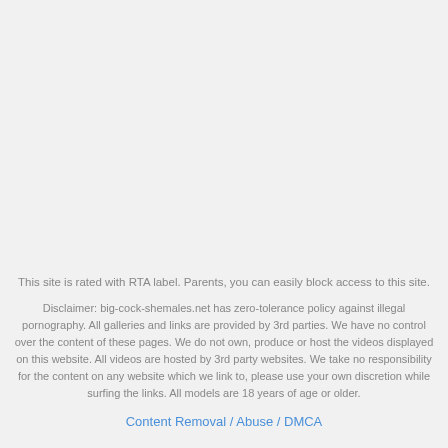This site is rated with RTA label. Parents, you can easily block access to this site.
Disclaimer: big-cock-shemales.net has zero-tolerance policy against illegal pornography. All galleries and links are provided by 3rd parties. We have no control over the content of these pages. We do not own, produce or host the videos displayed on this website. All videos are hosted by 3rd party websites. We take no responsibility for the content on any website which we link to, please use your own discretion while surfing the links. All models are 18 years of age or older.
Content Removal / Abuse / DMCA